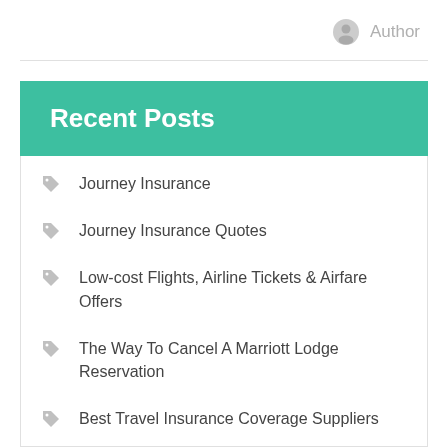Author
Recent Posts
Journey Insurance
Journey Insurance Quotes
Low-cost Flights, Airline Tickets & Airfare Offers
The Way To Cancel A Marriott Lodge Reservation
Best Travel Insurance Coverage Suppliers